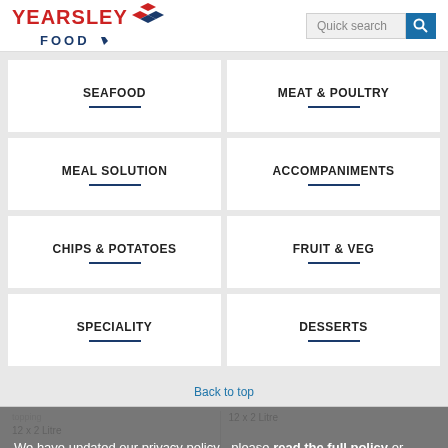[Figure (logo): Yearsley Food logo with red text and blue diamond icon, plus Quick search bar with blue search button]
SEAFOOD
MEAT & POULTRY
MEAL SOLUTION
ACCOMPANIMENTS
CHIPS & POTATOES
FRUIT & VEG
SPECIALITY
DESSERTS
Back to top
12 x 2 Litre
We have updated our privacy policy - please read the full policy or simply accept these changes
Litre
Ice King